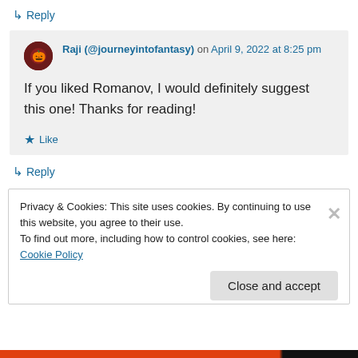↳ Reply
Raji (@journeyintofantasy) on April 9, 2022 at 8:25 pm
If you liked Romanov, I would definitely suggest this one! Thanks for reading!
★ Like
↳ Reply
Privacy & Cookies: This site uses cookies. By continuing to use this website, you agree to their use.
To find out more, including how to control cookies, see here: Cookie Policy
Close and accept